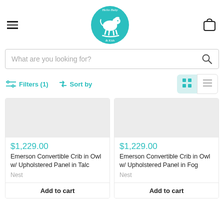Hello Baby & Kids — header with hamburger menu, logo, and cart icon
What are you looking for?
Filters (1)   Sort by
$1,229.00
Emerson Convertible Crib in Owl w/ Upholstered Panel in Talc
Nest
Add to cart
$1,229.00
Emerson Convertible Crib in Owl w/ Upholstered Panel in Fog
Nest
Add to cart